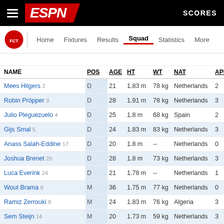ESPN — SCORES
Home | Fixtures | Results | Squad | Statistics | More
| NAME | POS | AGE | HT | WT | NAT | APP |
| --- | --- | --- | --- | --- | --- | --- |
| Mees Hilgers 2 | D | 21 | 1.83 m | 78 kg | Netherlands | 2 |
| Robin Pröpper 3 | D | 28 | 1.91 m | 78 kg | Netherlands | 3 |
| Julio Pleguezuelo 4 | D | 25 | 1.8 m | 68 kg | Spain | 2 |
| Gijs Smal 5 | D | 24 | 1.83 m | 83 kg | Netherlands | 3 |
| Anass Salah-Eddine 17 | D | 20 | 1.8 m | -- | Netherlands | 0 |
| Joshua Brenet 20 | D | 28 | 1.8 m | 73 kg | Netherlands | 3 |
| Luca Everink 24 | D | 21 | 1.78 m | -- | Netherlands | 1 |
| Wout Brama 6 | M | 36 | 1.75 m | 77 kg | Netherlands | 0 |
| Ramiz Zerrouki 8 | M | 24 | 1.83 m | 76 kg | Algeria | 3 |
| Sem Steijn 14 | M | 20 | 1.73 m | 59 kg | Netherlands | 3 |
| Michel Vlap 18 | M | 25 | 1.91 m | 81 kg | Netherlands | 3 |
| Mathias Kjølø 21 | M | 21 | 1.75 m | 67 kg | Norway |  |